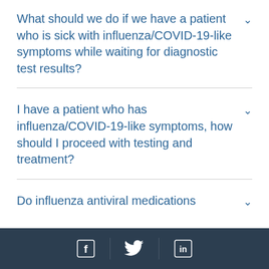What should we do if we have a patient who is sick with influenza/COVID-19-like symptoms while waiting for diagnostic test results?
I have a patient who has influenza/COVID-19-like symptoms, how should I proceed with testing and treatment?
Do influenza antiviral medications
Facebook | Twitter | LinkedIn